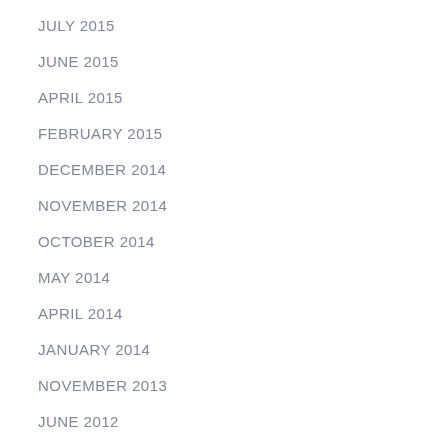JULY 2015
JUNE 2015
APRIL 2015
FEBRUARY 2015
DECEMBER 2014
NOVEMBER 2014
OCTOBER 2014
MAY 2014
APRIL 2014
JANUARY 2014
NOVEMBER 2013
JUNE 2012
MAY 2011
JULY 2009